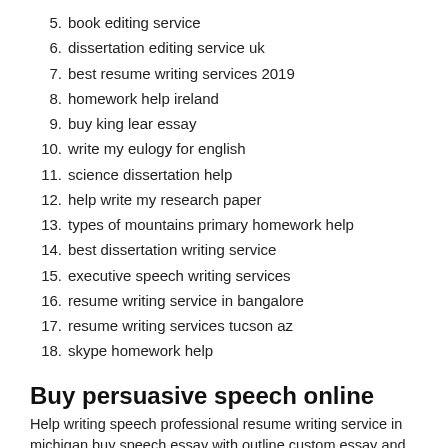5. book editing service
6. dissertation editing service uk
7. best resume writing services 2019
8. homework help ireland
9. buy king lear essay
10. write my eulogy for english
11. science dissertation help
12. help write my research paper
13. types of mountains primary homework help
14. best dissertation writing service
15. executive speech writing services
16. resume writing service in bangalore
17. resume writing services tucson az
18. skype homework help
Buy persuasive speech online
Help writing speech professional resume writing service in michigan buy speech essay with outline custom essay and